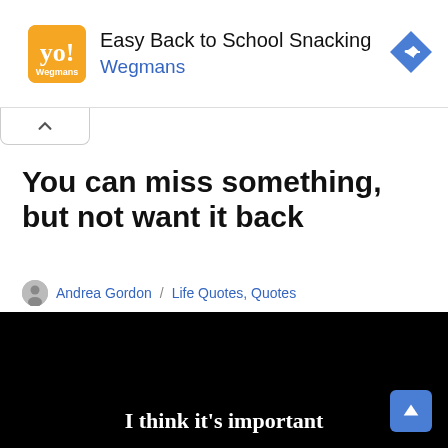[Figure (screenshot): Advertisement banner for Wegmans 'Easy Back to School Snacking' with orange logo, text, and blue diamond navigation icon]
You can miss something, but not want it back
Andrea Gordon / Life Quotes, Quotes
[Figure (photo): Black background image with white serif text reading 'I think it's important']